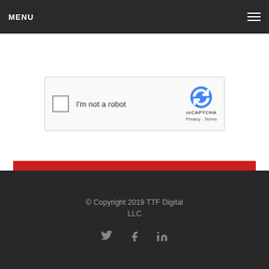MENU
[Figure (screenshot): reCAPTCHA widget with checkbox labeled 'I'm not a robot' and reCAPTCHA logo with Privacy - Terms links]
SUBMIT
© Copyright 2019 TTF Digital LLC
[Figure (other): Social media icons: Twitter, Facebook, LinkedIn]